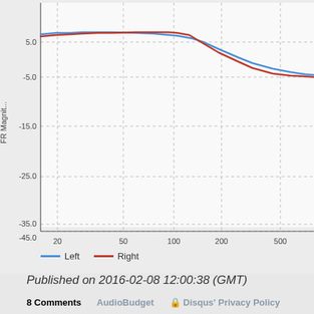[Figure (continuous-plot): Frequency response magnitude chart showing Left (blue) and Right (red) channels. Y-axis labeled 'FR Magnitude' ranging from -45.0 to above 5.0. X-axis shows frequency values: 20, 50, 100, 200, 500. Both lines start around 7-8 dB, remain elevated through mid frequencies with Right peaking near 100Hz, then both decline, converging around 3-4 dB at the high end.]
Left   Right
Published on 2016-02-08 12:00:38 (GMT)
8 Comments   AudioBudget   Disqus' Privacy Policy